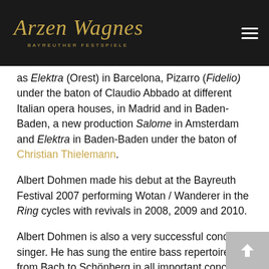Bayreuther Festspiele
as Elektra (Orest) in Barcelona, Pizarro (Fidelio) under the baton of Claudio Abbado at different Italian opera houses, in Madrid and in Baden-Baden, a new production Salome in Amsterdam and Elektra in Baden-Baden under the baton of Christian Thielemann.
Albert Dohmen made his debut at the Bayreuth Festival 2007 performing Wotan / Wanderer in the Ring cycles with revivals in 2008, 2009 and 2010.
Albert Dohmen is also a very successful concert singer. He has sung the entire bass repertoire from Bach to Schönberg in all important concert halls and at international festivals, for example Beethovens IX. symphony under Kurt Masur at the New York Philharmonic Orchestra, Brahm's Requiem, also under